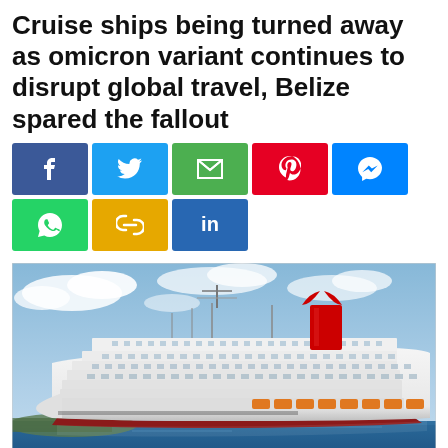Cruise ships being turned away as omicron variant continues to disrupt global travel, Belize spared the fallout
[Figure (infographic): Social media share buttons: Facebook, Twitter, Email, Pinterest, Messenger, WhatsApp, Copy link, LinkedIn]
[Figure (photo): A large white Carnival cruise ship sailing on blue water under a partly cloudy sky]